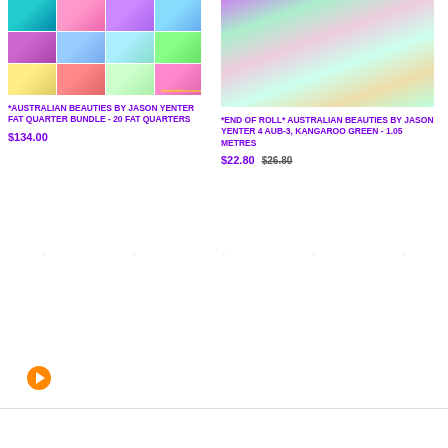[Figure (photo): Grid of 12 colorful fabric swatches from Australian Beauties collection by Jason Yenter, with loveleefabric.com.au watermark]
*AUSTRALIAN BEAUTIES BY JASON YENTER FAT QUARTER BUNDLE - 20 FAT QUARTERS
$134.00
[Figure (photo): Close-up photo of green and multicolor kangaroo-themed Australian Beauties fabric]
*END OF ROLL* AUSTRALIAN BEAUTIES BY JASON YENTER 4 AUB-3, KANGAROO GREEN - 1.05 METRES
$22.80  $26.80